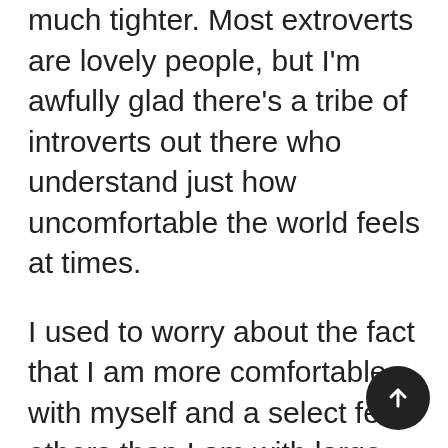much tighter. Most extroverts are lovely people, but I'm awfully glad there's a tribe of introverts out there who understand just how uncomfortable the world feels at times.
I used to worry about the fact that I am more comfortable with myself and a select few others than I am with large numbers of people. I worried about not fitting in with the current environment. Am I in danger of becoming the odd hermit lady? Am I losing touch with reality? Will the universe punish me for not getting on the extrovert bandwagon? The answers are all no. I may not fit in with large chunks of society, but I have a niche that fits me just fine. And most introverts will tell you the same. We ma... be remnants of a world that no longer exists, but